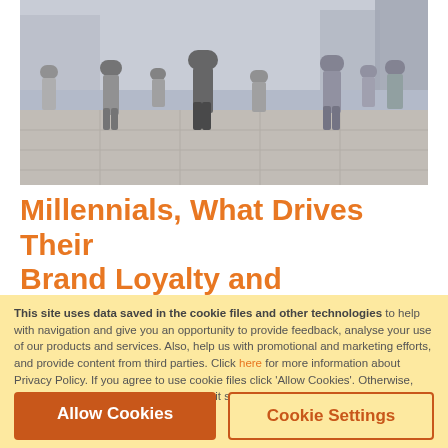[Figure (photo): Group of people walking on a city street/plaza, photographed from low angle, mostly millennials with bags and phones, urban outdoor setting]
Millennials, What Drives Their Brand Loyalty and Purchasing
This site uses data saved in the cookie files and other technologies to help with navigation and give you an opportunity to provide feedback, analyse your use of our products and services. Also, help us with promotional and marketing efforts, and provide content from third parties. Click here for more information about Privacy Policy. If you agree to use cookie files click 'Allow Cookies'. Otherwise, click 'Cookie Settings' to allow or prohibit some cookie categories.
Allow Cookies
Cookie Settings